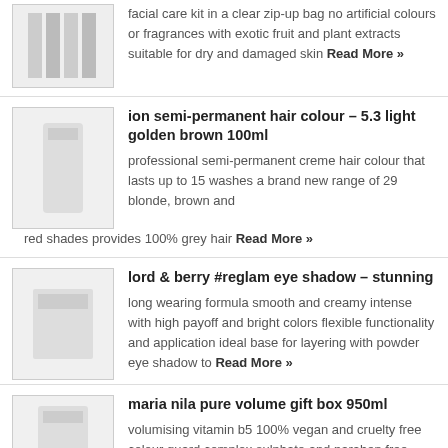facial care kit in a clear zip-up bag no artificial colours or fragrances with exotic fruit and plant extracts suitable for dry and damaged skin Read More »
ion semi-permanent hair colour – 5.3 light golden brown 100ml
professional semi-permanent creme hair colour that lasts up to 15 washes a brand new range of 29 blonde, brown and red shades provides 100% grey hair Read More »
lord & berry #reglam eye shadow – stunning
long wearing formula smooth and creamy intense with high payoff and bright colors flexible functionality and application ideal base for layering with powder eye shadow to Read More »
maria nila pure volume gift box 950ml
volumising vitamin b5 100% vegan and cruelty free colour guard complex sulphate and paraben free contains pure volume shampoo 350ml, pure volume conditioner 300ml and